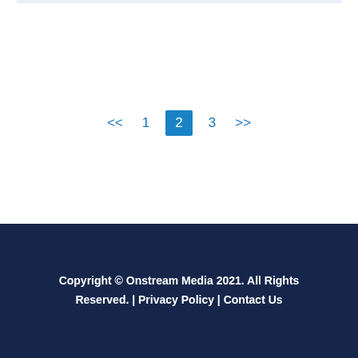<< 1 2 3 >>
Copyright © Onstream Media 2021. All Rights Reserved. | Privacy Policy | Contact Us